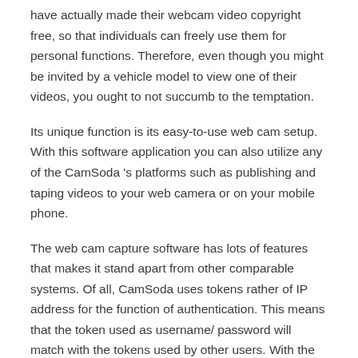have actually made their webcam video copyright free, so that individuals can freely use them for personal functions. Therefore, even though you might be invited by a vehicle model to view one of their videos, you ought to not succumb to the temptation.
Its unique function is its easy-to-use web cam setup. With this software application you can also utilize any of the CamSoda 's platforms such as publishing and taping videos to your web camera or on your mobile phone.
The web cam capture software has lots of features that makes it stand apart from other comparable systems. Of all, CamSoda uses tokens rather of IP address for the function of authentication. This means that the token used as username/ password will match with the tokens used by other users. With the token alone, security is boosted as if there were 2 users logged in at the very same time. In addition, CamSoda utilizes encrypted connections for the function of protecting all your data.